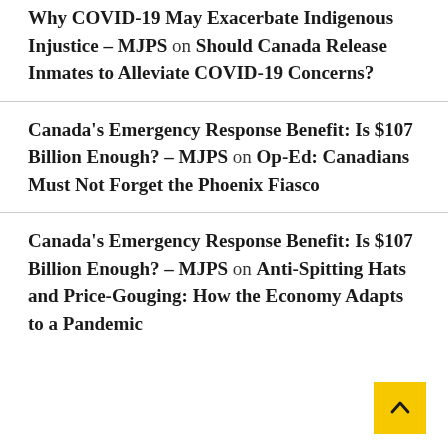Why COVID-19 May Exacerbate Indigenous Injustice - MJPS on Should Canada Release Inmates to Alleviate COVID-19 Concerns?
Canada's Emergency Response Benefit: Is $107 Billion Enough? - MJPS on Op-Ed: Canadians Must Not Forget the Phoenix Fiasco
Canada's Emergency Response Benefit: Is $107 Billion Enough? - MJPS on Anti-Spitting Hats and Price-Gouging: How the Economy Adapts to a Pandemic